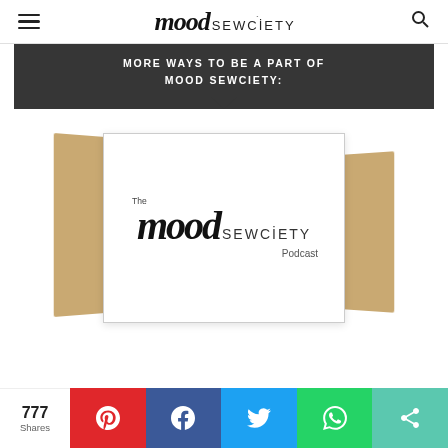mood SEWCIETY
MORE WAYS TO BE A PART OF MOOD SEWCIETY:
[Figure (logo): The Mood Sewciety Podcast logo displayed on a white card with kraft paper background on left and right sides]
777 Shares
Social share bar with Pinterest, Facebook, Twitter, WhatsApp, and general share icons